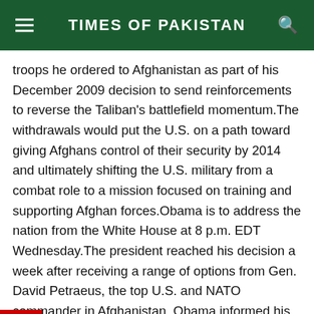TIMES OF PAKISTAN
troops he ordered to Afghanistan as part of his December 2009 decision to send reinforcements to reverse the Taliban's battlefield momentum.The withdrawals would put the U.S. on a path toward giving Afghans control of their security by 2014 and ultimately shifting the U.S. military from a combat role to a mission focused on training and supporting Afghan forces.Obama is to address the nation from the White House at 8 p.m. EDT Wednesday.The president reached his decision a week after receiving a range of options from Gen. David Petraeus, the top U.S. and NATO commander in Afghanistan. Obama informed his senior national security advisers, including outgoing Defense Secretary Robert Gates and Secretary of State Hillary Rodham Clinton, of his plans during a White House meeting on Tuesday.“The president is commander-in-chief,”